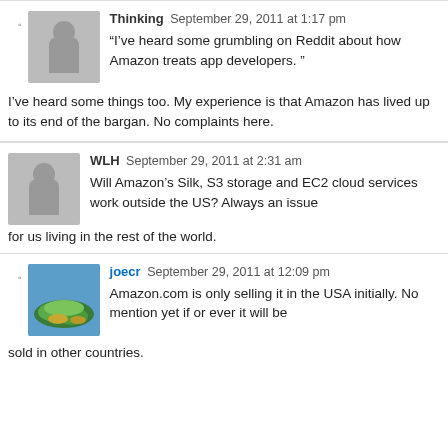Thinking  September 29, 2011 at 1:17 pm
“I’ve heard some grumbling on Reddit about how Amazon treats app developers. ” I’ve heard some things too. My experience is that Amazon has lived up to its end of the bargan. No complaints here.
WLH  September 29, 2011 at 2:31 am

Will Amazon’s Silk, S3 storage and EC2 cloud services work outside the US? Always an issue for us living in the rest of the world.
joecr  September 29, 2011 at 12:09 pm

Amazon.com is only selling it in the USA initially. No mention yet if or ever it will be sold in other countries.